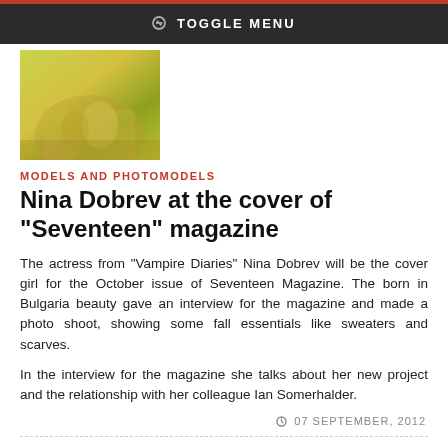TOGGLE MENU
[Figure (photo): Partial photo of a woman in a yellow-green dress, seated outdoors]
MODELS AND PHOTOMODELS
Nina Dobrev at the cover of "Seventeen" magazine
The actress from "Vampire Diaries" Nina Dobrev will be the cover girl for the October issue of Seventeen Magazine. The born in Bulgaria beauty gave an interview for the magazine and made a photo shoot, showing some fall essentials like sweaters and scarves.
In the interview for the magazine she talks about her new project and the relationship with her colleague Ian Somerhalder.
07 SEPTEMBER, 2012
Nicole Kidman naked on the cover of V magazine